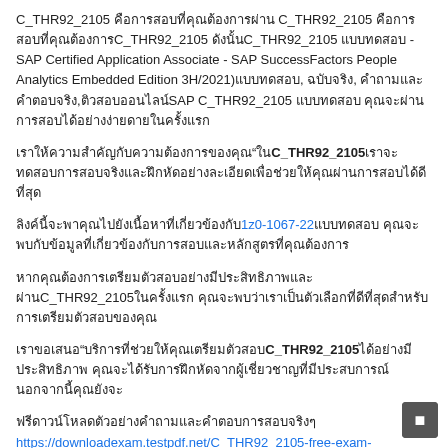C_THR92_2105 คือการสอบที่คุณต้องการผ่าน C_THR92_2105 คือการสอบที่คุณต้องการC_THR92_2105 ดังนั้นC_THR92_2105 แบบทดสอบ - SAP Certified Application Associate - SAP SuccessFactors People Analytics Embedded Edition 3H/2021)แบบทดสอบ, ฉบับจริง, คําถามและคําตอบจริง,ติวสอบออนไลน์SAP C_THR92_2105 แบบทดสอบ คุณจะผ่านการสอบได้อย่างง่ายดายในครั้งแรก
เราให้ความสำคัญกับความต้องการของคุณ"ใน C_THR92_2105 เราจะทดสอบการสอบจริงและฝึกหัดอย่างละเอียดเพื่อช่วยให้คุณผ่านการสอบได้ดีที่สุด
ลิงค์นี้จะพาคุณไปยังเนื้อหาที่เกี่ยวข้องกับ 1z0-1067-22 แบบทดสอบ คุณจะพบกับข้อมูลที่เกี่ยวข้องกับการสอบและหลักสูตรที่คุณต้องการ
หากคุณต้องการเตรียมตัวสอบอย่างมีประสิทธิภาพและผ่านC_THR92_2105 ในครั้งแรก คุณจะพบว่าเราเป็นตัวเลือกที่ดีที่สุดสำหรับการเตรียมตัวสอบของคุณ
เราขอเสนอ"บริการที่ช่วยให้คุณเตรียมตัวสอบC_THR92_2105 ได้อย่างมีประสิทธิภาพ คุณจะได้รับการฝึกหัดจากผู้เชี่ยวชาญที่มีประสบการณ์ นอกจากนี้คุณยังจะ
ฟรีดาวน์โหลดตัวอย่างคำถามและคำตอบการสอบจริงๆ https://downloadexam.testpdf.net/C_THR92_2105-free-exam-download.html คุณสามารถดาวน์โหลดตัวอย่างคำถามและคำตอบการสอบจริงๆได้ฟรี